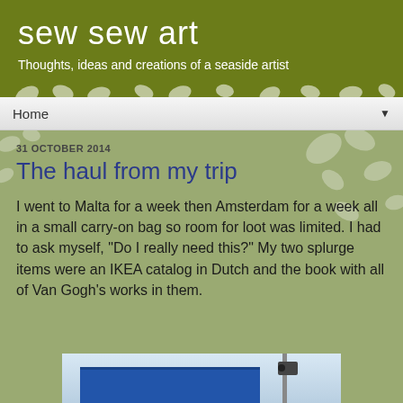sew sew art
Thoughts, ideas and creations of a seaside artist
Home
31 OCTOBER 2014
The haul from my trip
I went to Malta for a week then Amsterdam for a week all in a small carry-on bag so room for loot was limited. I had to ask myself, "Do I really need this?" My two splurge items were an IKEA catalog in Dutch and the book with all of Van Gogh's works in them.
[Figure (photo): Partial view of a blue building with a surveillance camera on a pole, photographed from below against a light sky.]